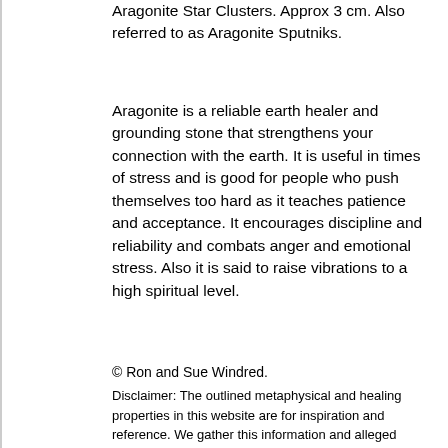Aragonite Star Clusters. Approx 3 cm. Also referred to as Aragonite Sputniks.
Aragonite is a reliable earth healer and grounding stone that strengthens your connection with the earth. It is useful in times of stress and is good for people who push themselves too hard as it teaches patience and acceptance. It encourages discipline and reliability and combats anger and emotional stress. Also it is said to raise vibrations to a high spiritual level.
© Ron and Sue Windred.
Disclaimer: The outlined metaphysical and healing properties in this website are for inspiration and reference. We gather this information and alleged properties from writings, books, folklore and various other sources. They are also dependent upon the attitude and beliefs of the individual. Furthermore they do not replace diagnosis or treatment by a qualified therapist or physician.